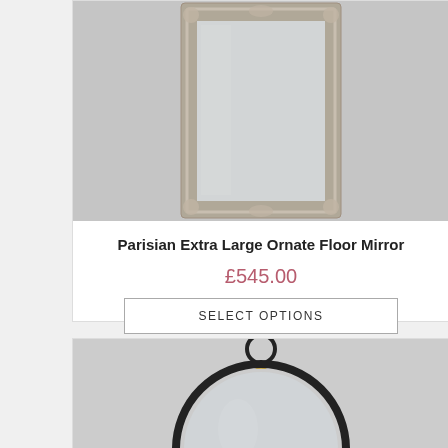[Figure (photo): Ornate silver/champagne rectangular floor mirror with decorative baroque-style frame against grey background]
Parisian Extra Large Ornate Floor Mirror
£545.00
SELECT OPTIONS
[Figure (photo): Round mirror with thin black circular frame and small gold/brass ring hanging hook at the top]